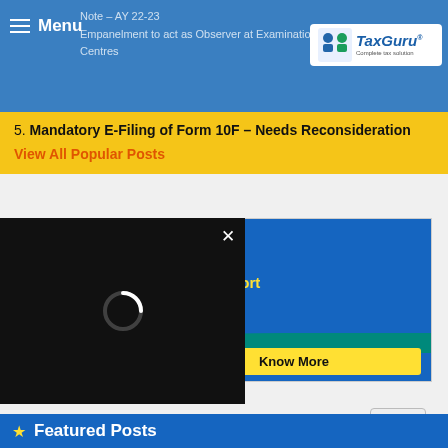Menu | Note – AY 22-23 | Empanelment to act as Observer at Examination Centres
[Figure (logo): TaxGuru logo – Complete tax solution]
5. Mandatory E-Filing of Form 10F – Needs Reconsideration
View All Popular Posts
[Figure (screenshot): TaxGuru Edu advertisement banner with phone number 8899117701, www.taxguruedu.com, Certification course on Export & Import, Discount, Know More button]
[Figure (screenshot): Video player overlay (black background with loading spinner) with close X button]
close
Featured Posts